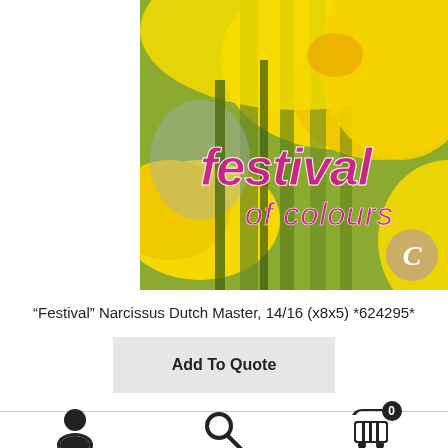[Figure (photo): Close-up photo of bright yellow daffodil/narcissus flowers with green stems, with 'festival of colours' text overlay in pink/purple italic font, and a gold/tan 'C' badge in the bottom-right corner.]
“Festival” Narcissus Dutch Master, 14/16 (x8x5) *624295*
Add To Quote
[Figure (other): Bottom navigation bar with user/person icon, search magnifying glass icon, and shopping cart icon with badge showing 0]